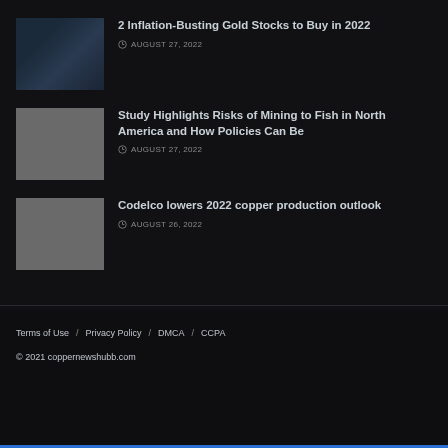[Figure (photo): Small thumbnail image of gold bars on dark background]
2 Inflation-Busting Gold Stocks to Buy in 2022
AUGUST 27, 2022
[Figure (photo): Small gray placeholder thumbnail]
Study Highlights Risks of Mining to Fish in North America and How Policies Can Be
AUGUST 27, 2022
[Figure (photo): Small gray placeholder thumbnail]
Codelco lowers 2022 copper production outlook
AUGUST 26, 2022
Terms of Use / Privacy Policy / DMCA / CCPA
© 2021 coppernewshubb.com